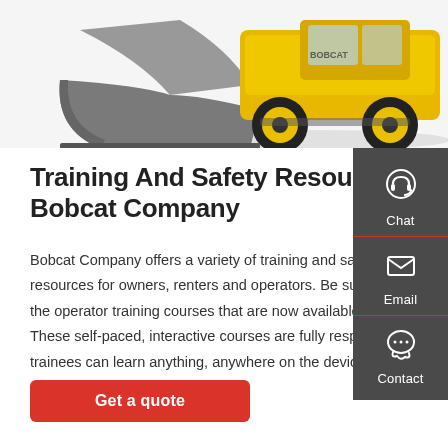[Figure (photo): Bobcat wheel loader machine with yellow wheels and a large gray bucket attachment, photographed from the front-left angle against a white background. Top portion of the machine is visible.]
Training And Safety Resources - Bobcat Company
Bobcat Company offers a variety of training and safety resources for owners, renters and operators. Be sure to see the operator training courses that are now available online. These self-paced, interactive courses are fully responsive so trainees can learn anything, anywhere on the device of their choice.
[Figure (screenshot): Dark grey sidebar panel on the right with three contact options: Chat (headset icon), Email (envelope icon), Contact (speech bubble with ellipsis icon). Each option is separated by a red horizontal divider line.]
Get a quote